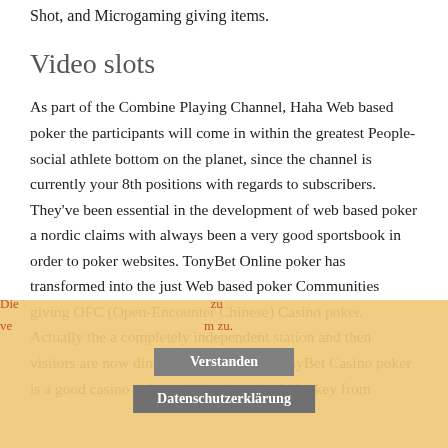Shot, and Microgaming giving items.
Video slots
As part of the Combine Playing Channel, Haha Web based poker the participants will come in within the greatest People-social athlete bottom on the planet, since the channel is currently your 8th positions with regards to subscribers. They've been essential in the development of web based poker a nordic claims with always been a very good sportsbook in order to poker websites. TonyBet Online poker has transformed into the just Web based poker Communities giving OFC (Open-Encounter Chinese) Casino poker. Actually the a completely independent station and then visitors are now diminished. After that TonyBet Casino poker is a good casino poker website that should be key from
Die... zu ve... m zu.
Verstanden
Datenschutzerklärung